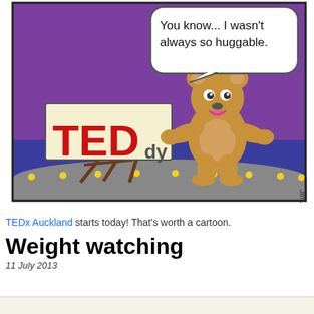[Figure (illustration): A cartoon showing a teddy bear character on a stage at a TEDdy event (parody of TED/TEDx). The bear stands on a blue-carpeted stage with yellow footlights, arms outstretched. A wooden easel holds a sign reading 'TEDdy'. A speech bubble from the bear reads: 'You know... I wasn't always so huggable.' The background is purple. Artist signature 'Jim.' visible on right edge.]
TEDx Auckland starts today! That's worth a cartoon.
Weight watching
11 July 2013